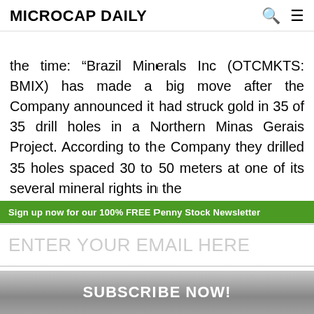MICROCAP DAILY
the time: “Brazil Minerals Inc (OTCMKTS: BMIX) has made a big move after the Company announced it had struck gold in 35 of 35 drill holes in a Northern Minas Gerais Project. According to the Company they drilled 35 holes spaced 30 to 50 meters at one of its several mineral rights in the
Sign up now for our 100% FREE Penny Stock Newsletter
ENTER YOUR EMAIL HERE
SUBSCRIBE NOW!